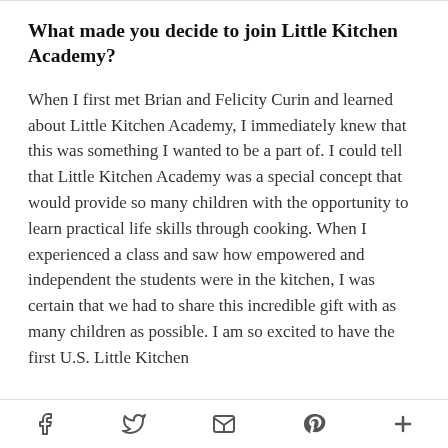What made you decide to join Little Kitchen Academy?
When I first met Brian and Felicity Curin and learned about Little Kitchen Academy, I immediately knew that this was something I wanted to be a part of. I could tell that Little Kitchen Academy was a special concept that would provide so many children with the opportunity to learn practical life skills through cooking. When I experienced a class and saw how empowered and independent the students were in the kitchen, I was certain that we had to share this incredible gift with as many children as possible. I am so excited to have the first U.S. Little Kitchen
Social share icons: Facebook, Twitter, Email, Pinterest, More